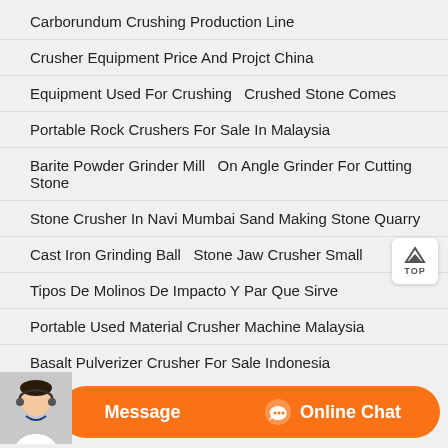Carborundum Crushing Production Line
Crusher Equipment Price And Projct China
Equipment Used For Crushing   Crushed Stone Comes
Portable Rock Crushers For Sale In Malaysia
Barite Powder Grinder Mill   On Angle Grinder For Cutting Stone
Stone Crusher In Navi Mumbai Sand Making Stone Quarry
Cast Iron Grinding Ball   Stone Jaw Crusher Small
Tipos De Molinos De Impacto Y Par Que Sirve
Portable Used Material Crusher Machine Malaysia
Basalt Pulverizer Crusher For Sale Indonesia
Coal Crusher Spmcoal Crusher Spray Water